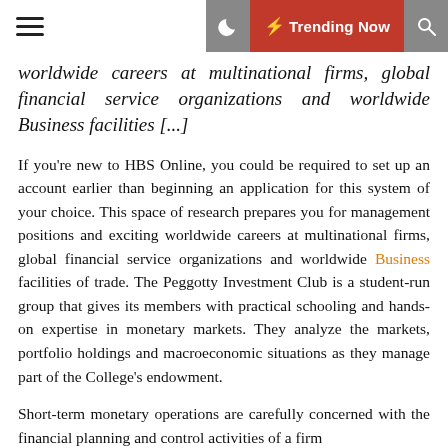≡  🌙  ⚡ Trending Now  🔍
worldwide careers at multinational firms, global financial service organizations and worldwide Business facilities [...]
If you're new to HBS Online, you could be required to set up an account earlier than beginning an application for this system of your choice. This space of research prepares you for management positions and exciting worldwide careers at multinational firms, global financial service organizations and worldwide Business facilities of trade. The Peggotty Investment Club is a student-run group that gives its members with practical schooling and hands-on expertise in monetary markets. They analyze the markets, portfolio holdings and macroeconomic situations as they manage part of the College's endowment.
Short-term monetary operations are carefully concerned with the financial planning and control activities of a firm